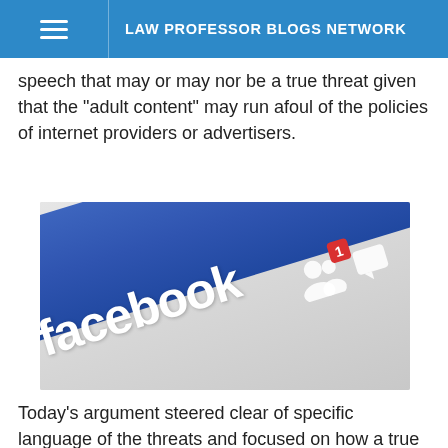LAW PROFESSOR BLOGS NETWORK
speech that may or may nor be a true threat given that the "adult content" may run afoul of the policies of internet providers or advertisers.
[Figure (photo): Close-up photo of a Facebook logo banner/strip shown at a diagonal angle, with white Facebook text and friend/message icons visible, and a notification badge showing the number 1.]
Today's argument steered clear of specific language of the threats and focused on how a true threat must be proven, or more specifically, how the jury instructions should cabin the definitions. For the petitioner, John Elwood, argued that there